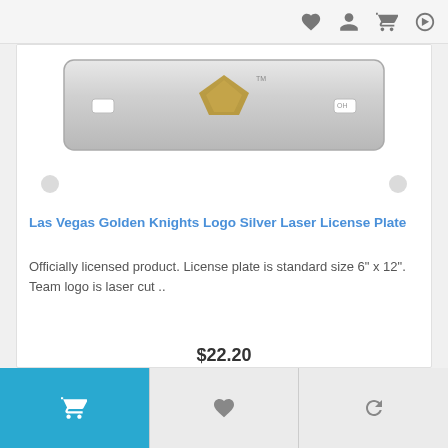Navigation bar with icons: heart, person, cart, share
[Figure (photo): Las Vegas Golden Knights logo silver laser license plate product image — silver/metallic license plate with team logo visible]
Las Vegas Golden Knights Logo Silver Laser License Plate
Officially licensed product. License plate is standard size 6" x 12". Team logo is laser cut ..
$22.20
Action bar with cart (blue), wishlist (heart), and refresh buttons